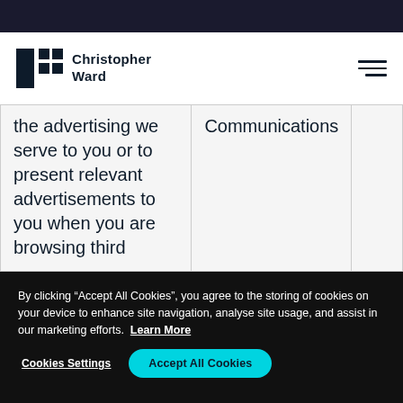Christopher Ward
| the advertising we serve to you or to present relevant advertisements to you when you are browsing third party sites | Communications |  |
By clicking “Accept All Cookies”, you agree to the storing of cookies on your device to enhance site navigation, analyse site usage, and assist in our marketing efforts. Learn More
Cookies Settings
Accept All Cookies